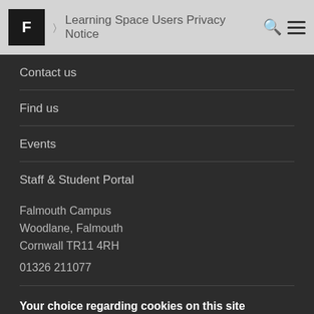F > Learning Space Users Privacy Notice
Contact us
Find us
Events
Staff & Student Portal
Falmouth Campus
Woodlane, Falmouth
Cornwall TR11 4RH
01326 211077
Your choice regarding cookies on this site
We use cookies to optimise site functionality and give you